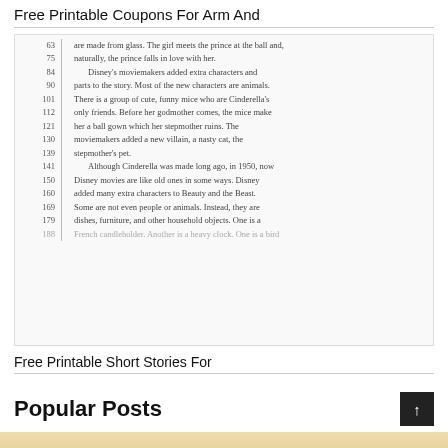Free Printable Coupons For Arm And
[Figure (screenshot): Screenshot of a reading passage with line numbers on the left side and a vertical bar separator. Lines are numbered 63, 75, 84, 90, 101, 112, 121, 130, 139, 141, 150, 160, 169, 179, and a partial line at the bottom. Text is about Cinderella's story and Disney movies.]
Free Printable Short Stories For
Popular Posts
[Figure (photo): Partial preview image with warm beige/tan background and red text partially visible reading 'Mad Lib']